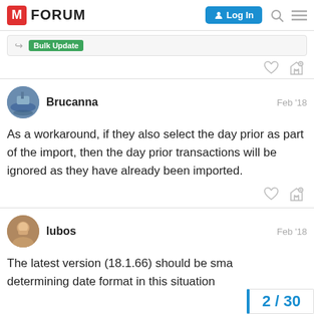M FORUM | Log In
[Figure (screenshot): Bulk Update button snippet inside a light grey box]
Brucanna   Feb '18
As a workaround, if they also select the day prior as part of the import, then the day prior transactions will be ignored as they have already been imported.
lubos   Feb '18
The latest version (18.1.66) should be sma determining date format in this situation
2 / 30